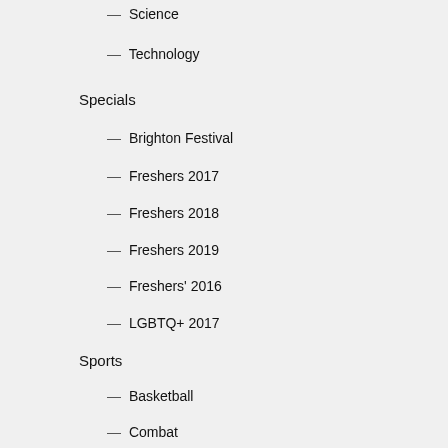— Science
— Technology
Specials
— Brighton Festival
— Freshers 2017
— Freshers 2018
— Freshers 2019
— Freshers' 2016
— LGBTQ+ 2017
Sports
— Basketball
— Combat
— Football
— Formula 1
— Rugby
Top Stories